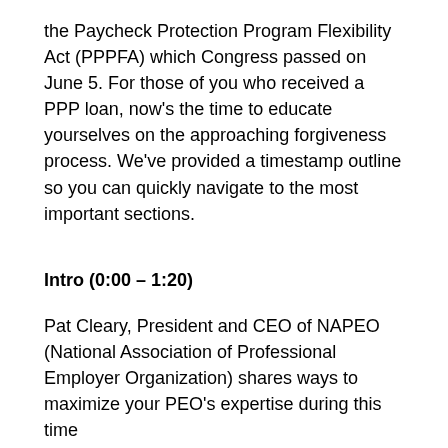the Paycheck Protection Program Flexibility Act (PPPFA) which Congress passed on June 5. For those of you who received a PPP loan, now's the time to educate yourselves on the approaching forgiveness process. We've provided a timestamp outline so you can quickly navigate to the most important sections.
Intro (0:00 – 1:20)
Pat Cleary, President and CEO of NAPEO (National Association of Professional Employer Organization) shares ways to maximize your PEO's expertise during this time
Agenda (1:22)
Presented by Seth Perretta and Malcolm Slee of Groom Law Group